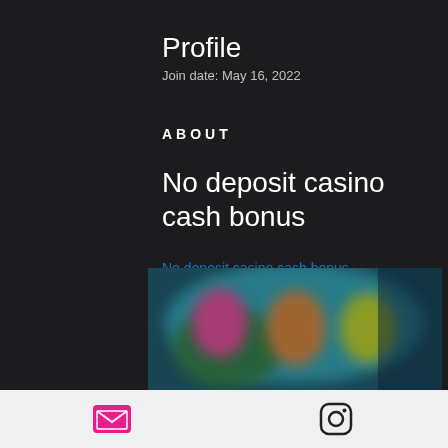Profile
Join date: May 16, 2022
ABOUT
No deposit casino cash bonus
No deposit casino cash bonus
[Figure (photo): Blurred screenshot of casino game with colorful characters on dark background]
Email icon and Instagram icon